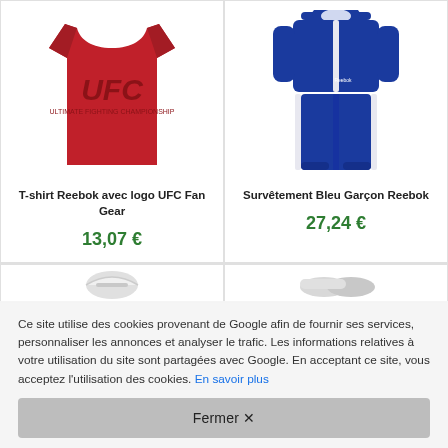[Figure (photo): Red UFC Fan Gear t-shirt by Reebok with UFC logo on front]
T-shirt Reebok avec logo UFC Fan Gear
13,07 €
[Figure (photo): Blue Reebok tracksuit (hoodie and jogging pants) for boys]
Survêtement Bleu Garçon Reebok
27,24 €
[Figure (photo): Partial view of a white cap/hat product]
[Figure (photo): Partial view of white/grey shoes product]
Ce site utilise des cookies provenant de Google afin de fournir ses services, personnaliser les annonces et analyser le trafic. Les informations relatives à votre utilisation du site sont partagées avec Google. En acceptant ce site, vous acceptez l'utilisation des cookies. En savoir plus
Fermer ✕